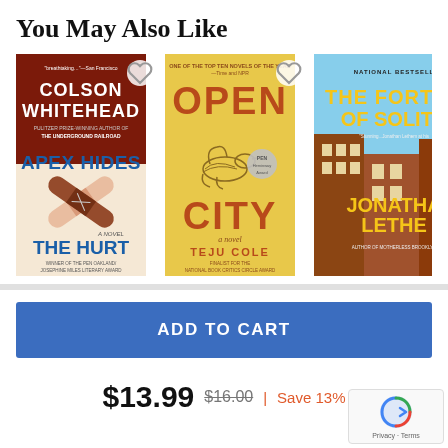You May Also Like
[Figure (photo): Three book covers side by side: 'Apex Hides the Hurt' by Colson Whitehead, 'Open City' by Teju Cole, and 'The Fortress of Solitude' by Jonathan Lethem]
ADD TO CART
$13.99  $16.00  |  Save 13%